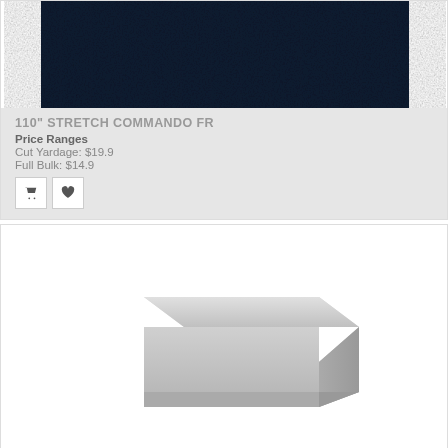[Figure (photo): Close-up photo of dark navy blue stretch commando FR fabric with textured surface, showing corner fold]
110" STRETCH COMMANDO FR
Price Ranges
Cut Yardage: $19.9
Full Bulk: $14.9
[Figure (photo): Photo of a silver/chrome rectangular metal tube or bar extrusion on white background]